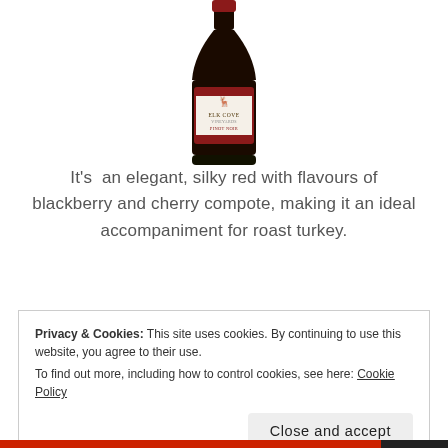[Figure (photo): A dark wine bottle with a label reading 'Elk Cove Vineyards Pinot Noir', partially cropped at the top]
It's  an elegant, silky red with flavours of blackberry and cherry compote, making it an ideal accompaniment for roast turkey.
Privacy & Cookies: This site uses cookies. By continuing to use this website, you agree to their use.
To find out more, including how to control cookies, see here: Cookie Policy
Close and accept